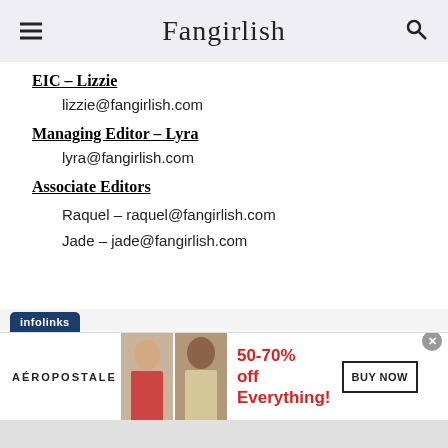Fangirlish
EIC – Lizzie
lizzie@fangirlish.com
Managing Editor – Lyra
lyra@fangirlish.com
Associate Editors
Raquel – raquel@fangirlish.com
Jade – jade@fangirlish.com
[Figure (infographic): Infolinks badge and Aeropostale advertisement banner showing two models, text '50-70% off Everything!' in red, and a 'BUY NOW' button]